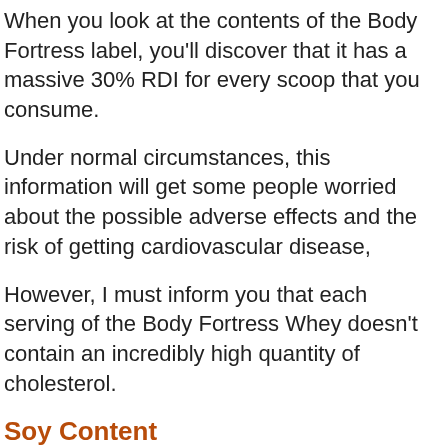When you look at the contents of the Body Fortress label, you'll discover that it has a massive 30% RDI for every scoop that you consume.
Under normal circumstances, this information will get some people worried about the possible adverse effects and the risk of getting cardiovascular disease,
However, I must inform you that each serving of the Body Fortress Whey doesn't contain an incredibly high quantity of cholesterol.
Soy Content
It is essential to clarify that Body Fortress Advanced Whey contains soy, containing traces of